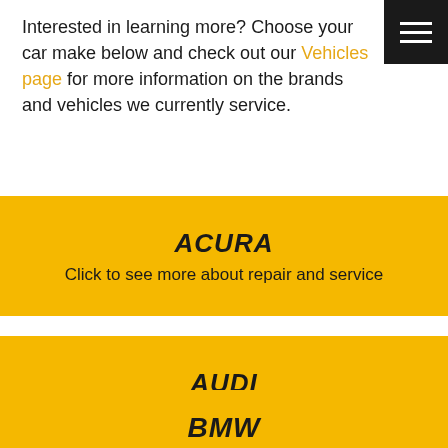Interested in learning more? Choose your car make below and check out our Vehicles page for more information on the brands and vehicles we currently service.
ACURA — Click to see more about repair and service
AUDI — Click to see more about repair and service
BMW